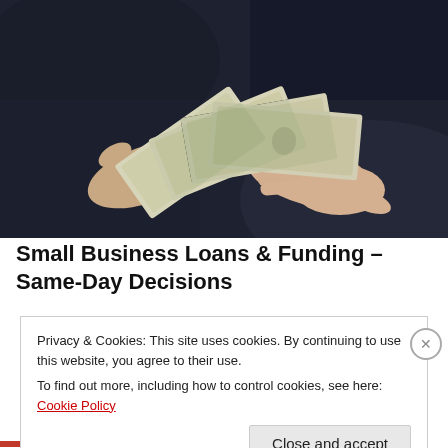[Figure (photo): Two pairs of hands exchanging US dollar bills (ten dollar notes) against a dark background, depicting a financial transaction or loan handover.]
Small Business Loans & Funding – Same-Day Decisions
Privacy & Cookies: This site uses cookies. By continuing to use this website, you agree to their use.
To find out more, including how to control cookies, see here: Cookie Policy